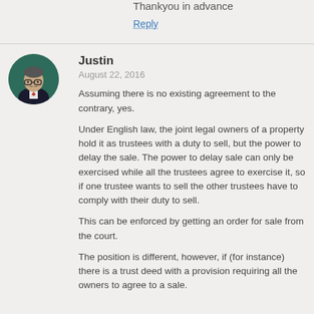Thankyou in advance
Reply
Justin
August 22, 2016
Assuming there is no existing agreement to the contrary, yes.
Under English law, the joint legal owners of a property hold it as trustees with a duty to sell, but the power to delay the sale. The power to delay sale can only be exercised while all the trustees agree to exercise it, so if one trustee wants to sell the other trustees have to comply with their duty to sell.
This can be enforced by getting an order for sale from the court.
The position is different, however, if (for instance) there is a trust deed with a provision requiring all the owners to agree to a sale.